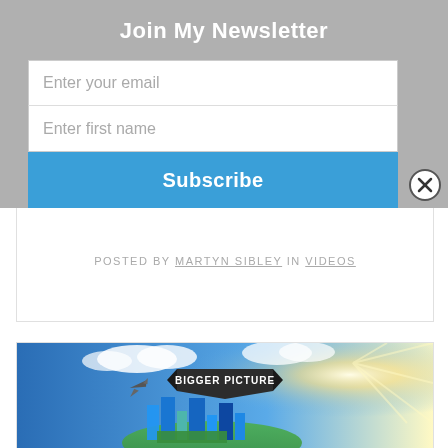Join My Newsletter
Enter your email
Enter first name
Subscribe
POSTED BY MARTYN SIBLEY IN VIDEOS
[Figure (photo): Bigger Picture promotional image showing a globe with city skyline, airplane, and bright sun with banner reading BIGGER PICTURE]